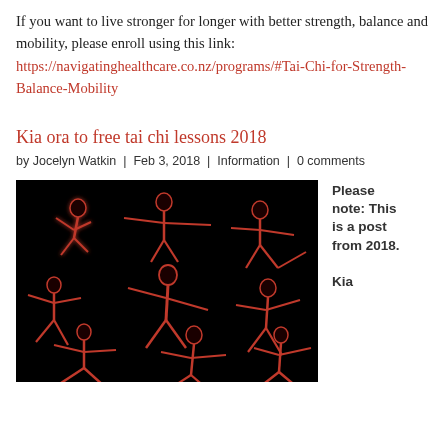If you want to live stronger for longer with better strength, balance and mobility, please enroll using this link: https://navigatinghealthcare.co.nz/programs/#Tai-Chi-for-Strength-Balance-Mobility
Kia ora to free tai chi lessons 2018
by Jocelyn Watkin | Feb 3, 2018 | Information | 0 comments
[Figure (illustration): Black background image with glowing red-outlined silhouettes of multiple people performing tai chi poses]
Please note: This is a post from 2018. Kia